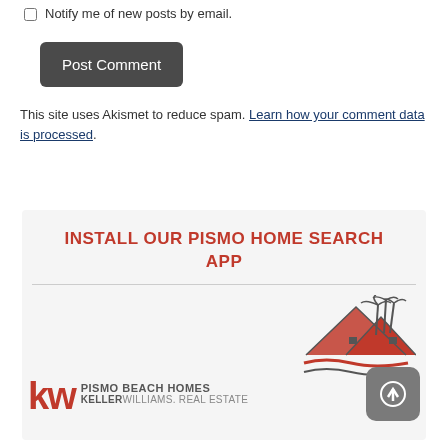Notify me of new posts by email.
Post Comment
This site uses Akismet to reduce spam. Learn how your comment data is processed.
INSTALL OUR PISMO HOME SEARCH APP
[Figure (logo): Keller Williams Pismo Beach Homes logo with KW letters in red and gray text, alongside a stylized house and palm tree logo in red and dark gray]